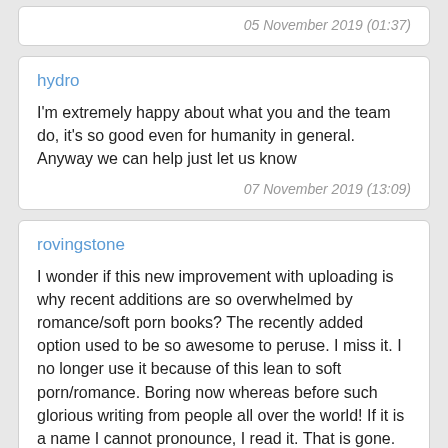05 November 2019 (01:37)
hydro
I'm extremely happy about what you and the team do, it's so good even for humanity in general. Anyway we can help just let us know
07 November 2019 (13:09)
rovingstone
I wonder if this new improvement with uploading is why recent additions are so overwhelmed by romance/soft porn books? The recently added option used to be so awesome to peruse. I miss it. I no longer use it because of this lean to soft porn/romance. Boring now whereas before such glorious writing from people all over the world! If it is a name I cannot pronounce, I read it. That is gone. Fortunately, you all offer such a great resource in other ways. I am thanking you for the long time when